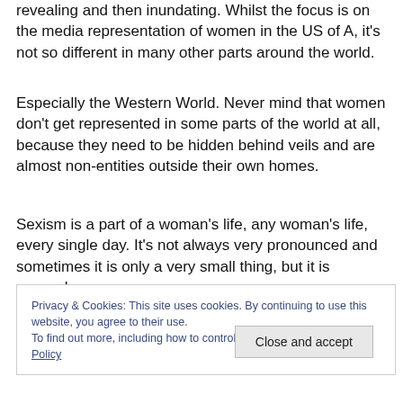revealing and then inundating. Whilst the focus is on the media representation of women in the US of A, it's not so different in many other parts around the world.
Especially the Western World. Never mind that women don't get represented in some parts of the world at all, because they need to be hidden behind veils and are almost non-entities outside their own homes.
Sexism is a part of a woman's life, any woman's life, every single day. It's not always very pronounced and sometimes it is only a very small thing, but it is everywhere
Privacy & Cookies: This site uses cookies. By continuing to use this website, you agree to their use.
To find out more, including how to control cookies, see here: Cookie Policy
Close and accept